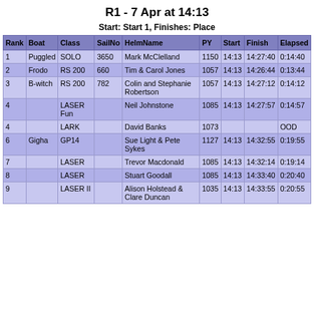R1 - 7 Apr at 14:13
Start: Start 1, Finishes: Place
| Rank | Boat | Class | SailNo | HelmName | PY | Start | Finish | Elapsed |
| --- | --- | --- | --- | --- | --- | --- | --- | --- |
| 1 | Puggled | SOLO | 3650 | Mark McClelland | 1150 | 14:13 | 14:27:40 | 0:14:40 |
| 2 | Frodo | RS 200 | 660 | Tim & Carol Jones | 1057 | 14:13 | 14:26:44 | 0:13:44 |
| 3 | B-witch | RS 200 | 782 | Colin and Stephanie Robertson | 1057 | 14:13 | 14:27:12 | 0:14:12 |
| 4 |  | LASER Fun |  | Neil Johnstone | 1085 | 14:13 | 14:27:57 | 0:14:57 |
| 4 |  | LARK |  | David Banks | 1073 |  |  | OOD |
| 6 | Gigha | GP14 |  | Sue Light & Pete Sykes | 1127 | 14:13 | 14:32:55 | 0:19:55 |
| 7 |  | LASER |  | Trevor Macdonald | 1085 | 14:13 | 14:32:14 | 0:19:14 |
| 8 |  | LASER |  | Stuart Goodall | 1085 | 14:13 | 14:33:40 | 0:20:40 |
| 9 |  | LASER II |  | Alison Holstead & Clare Duncan | 1035 | 14:13 | 14:33:55 | 0:20:55 |